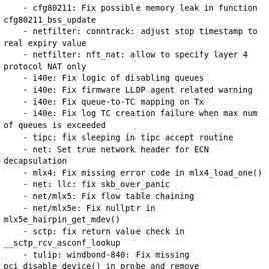- cfg80211: Fix possible memory leak in function cfg80211_bss_update
- netfilter: conntrack: adjust stop timestamp to real expiry value
- netfilter: nft_nat: allow to specify layer 4 protocol NAT only
- i40e: Fix logic of disabling queues
- i40e: Fix firmware LLDP agent related warning
- i40e: Fix queue-to-TC mapping on Tx
- i40e: Fix log TC creation failure when max num of queues is exceeded
- tipc: fix sleeping in tipc accept routine
- net: Set true network header for ECN decapsulation
- mlx4: Fix missing error code in mlx4_load_one()
- net: llc: fix skb_over_panic
- net/mlx5: Fix flow table chaining
- net/mlx5e: Fix nullptr in mlx5e_hairpin_get_mdev()
- sctp: fix return value check in __sctp_rcv_asconf_lookup
- tulip: windbond-840: Fix missing pci_disable_device() in probe and remove
- sis900: Fix missing pci_disable_device() in probe and remove
- can: hi311x: fix a signedness bug in hi3110_cmd()
- PCI: mvebu: Setup BAR0 in order to fix MSI
- powerpc/pseries: Fix regression while building external modules
- i40e: Add additional info to PHY type error